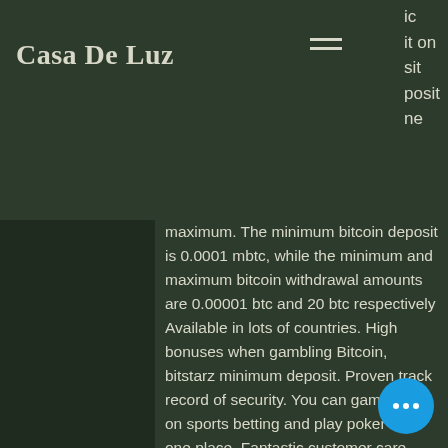Casa De Luz
ic
it on
sit
posit
ne
maximum. The minimum bitcoin deposit is 0.0001 mbtc, while the minimum and maximum bitcoin withdrawal amounts are 0.00001 btc and 20 btc respectively Available in lots of countries. High bonuses when gambling Bitcoin, bitstarz minimum deposit. Proven track record of security. You can gamble, bet on sports betting and play poker from one place. Fantastic customer care with chat, email, and even a toll-free phone number for live support.
Today's winners:
1 Can 2 Can - 265.7 bch
Crazy Monkey - 425.5 bch
Mystic Wolf - 343.7 dog
Ancient Riches Red Hot Firepot - 148.1 ltc